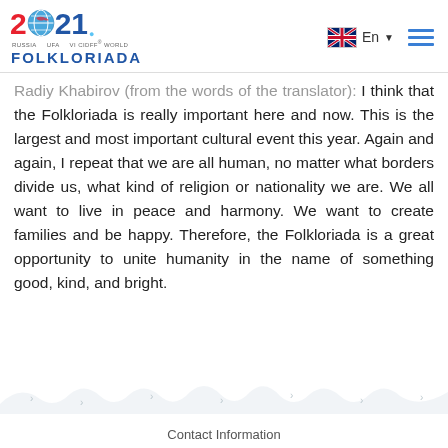2021 Russia UFA VI CIDFF World Folkloriada | En (language selector) | menu
Radiy Khabirov (from the words of the translator): I think that the Folkloriada is really important here and now. This is the largest and most important cultural event this year. Again and again, I repeat that we are all human, no matter what borders divide us, what kind of religion or nationality we are. We all want to live in peace and harmony. We want to create families and be happy. Therefore, the Folkloriada is a great opportunity to unite humanity in the name of something good, kind, and bright.
Contact Information